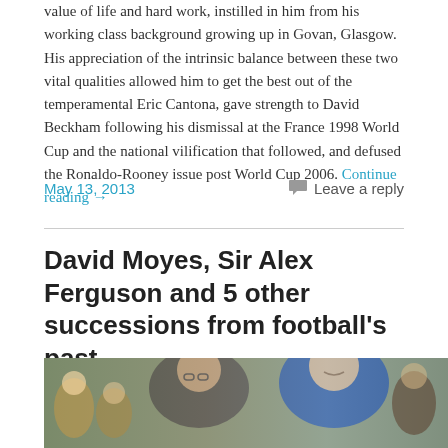value of life and hard work, instilled in him from his working class background growing up in Govan, Glasgow. His appreciation of the intrinsic balance between these two vital qualities allowed him to get the best out of the temperamental Eric Cantona, gave strength to David Beckham following his dismissal at the France 1998 World Cup and the national vilification that followed, and defused the Ronaldo-Rooney issue post World Cup 2006. Continue reading →
May 13, 2013
Leave a reply
David Moyes, Sir Alex Ferguson and 5 other successions from football's past
[Figure (photo): Photo of two men, presumably Sir Alex Ferguson and David Moyes, smiling side by side in a stadium setting with crowd in background. One wearing glasses and dark jacket, other in blue vest.]